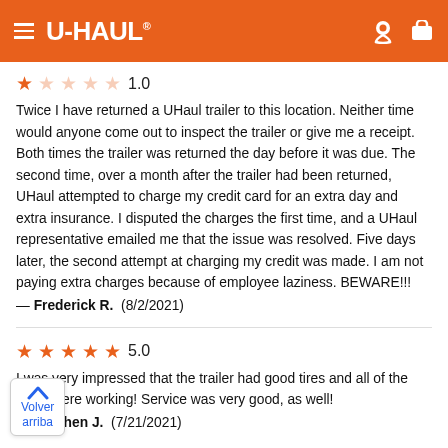U-HAUL
1.0 — Twice I have returned a UHaul trailer to this location. Neither time would anyone come out to inspect the trailer or give me a receipt. Both times the trailer was returned the day before it was due. The second time, over a month after the trailer had been returned, UHaul attempted to charge my credit card for an extra day and extra insurance. I disputed the charges the first time, and a UHaul representative emailed me that the issue was resolved. Five days later, the second attempt at charging my credit was made. I am not paying extra charges because of employee laziness. BEWARE!!! — Frederick R. (8/2/2021)
5.0 — I was very impressed that the trailer had good tires and all of the lights were working! Service was very good, as well! — Stephen J. (7/21/2021)